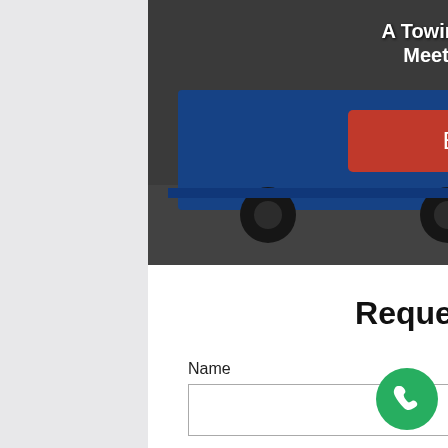[Figure (photo): Hero image showing a blue tow truck on a road, with text overlay 'A Towing Service That Will Meet Your Every Need' and a red 'Book Online' button]
Request a Call Back
Name
Phone Number *
Call Me Back